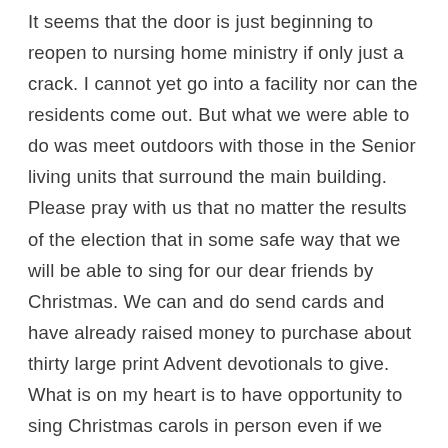It seems that the door is just beginning to reopen to nursing home ministry if only just a crack. I cannot yet go into a facility nor can the residents come out. But what we were able to do was meet outdoors with those in the Senior living units that surround the main building. Please pray with us that no matter the results of the election that in some safe way that we will be able to sing for our dear friends by Christmas. We can and do send cards and have already raised money to purchase about thirty large print Advent devotionals to give. What is on my heart is to have opportunity to sing Christmas carols in person even if we cannot hug or even shake hands. Thanks for your prayers encouragement and ideas. Today the video includes Have Thine own Way, some clips from our meeting last Saturday and O How I Love Jesus. God bless you and have a great weekend.